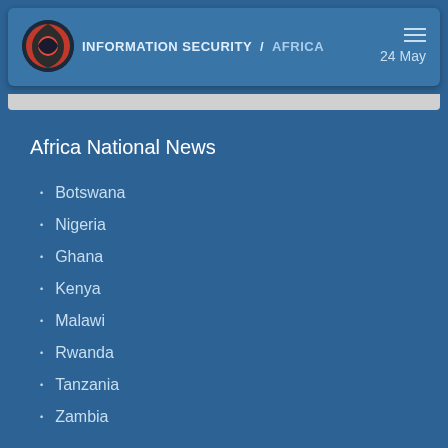INFORMATION SECURITY / AFRICA  24 May
Africa National News
Botswana
Nigeria
Ghana
Kenya
Malawi
Rwanda
Tanzania
Zambia
News Sections
Popular Videos
Value Added Services